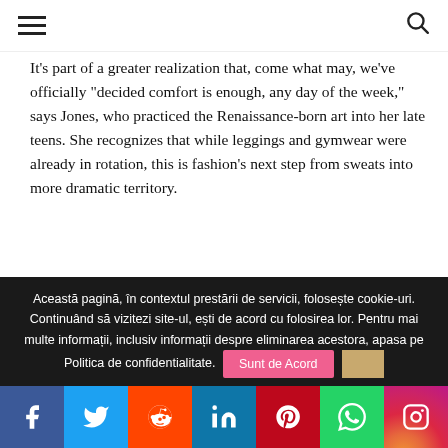Navigation bar with hamburger menu and search icon
It's part of a greater realization that, come what may, we've officially “decided comfort is enough, any day of the week,” says Jones, who practiced the Renaissance-born art into her late teens. She recognizes that while leggings and gymwear were already in rotation, this is fashion’s next step from sweats into more dramatic territory.
“Now with the ballet movement, there’s a way to give purpose and elevate from athleisure to
Această pagină, în contextul prestării de servicii, foloseşte cookie-uri. Continuând să vizitezi site-ul, eşti de acord cu folosirea lor. Pentru mai multe informaţii, inclusiv informaţii despre eliminarea acestora, apasa pe Politica de confidentialitate. Sunt de Acord